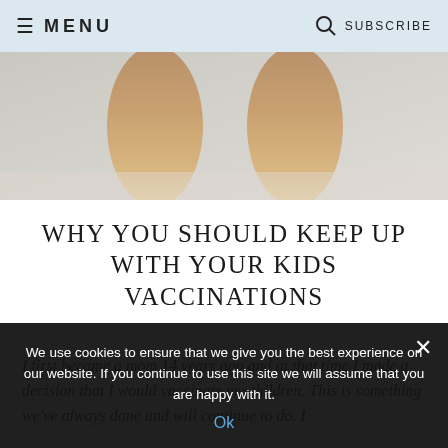≡ MENU   🔍 SUBSCRIBE
[Figure (photo): Close-up photo of children's legs, cropped at thighs, light background]
WHY YOU SHOULD KEEP UP WITH YOUR KIDS VACCINATIONS
I first became a mom 14 years ago and at that time I made a decision that I would vaccinate my children. This is something we've always done and will continue to do. I
We use cookies to ensure that we give you the best experience on our website. If you continue to use this site we will assume that you are happy with it.
Ok